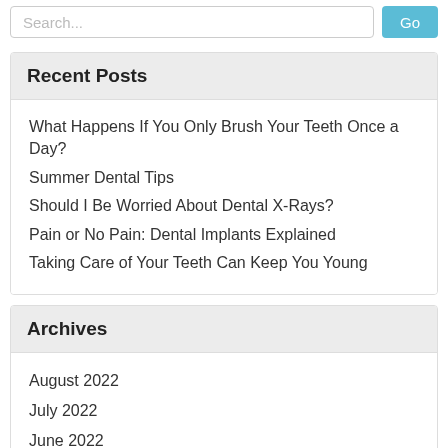Search...
Recent Posts
What Happens If You Only Brush Your Teeth Once a Day?
Summer Dental Tips
Should I Be Worried About Dental X-Rays?
Pain or No Pain: Dental Implants Explained
Taking Care of Your Teeth Can Keep You Young
Archives
August 2022
July 2022
June 2022